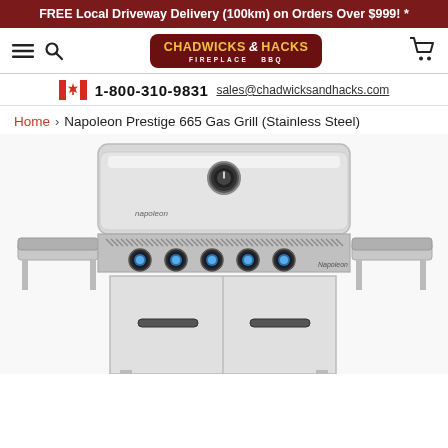FREE Local Driveway Delivery (100km) on Orders Over $999! *
[Figure (logo): Chadwicks & Hacks Fireplace & BBQ logo with dark red rounded rectangle background, gold and white text]
1-800-310-9831 sales@chadwicksandhacks.com
Home > Napoleon Prestige 665 Gas Grill (Stainless Steel)
[Figure (photo): Napoleon Prestige 665 Gas Grill in stainless steel finish, showing the lid closed with a temperature gauge on top, five blue-lit control knobs on the front panel, side shelves, and two cabinet doors below]